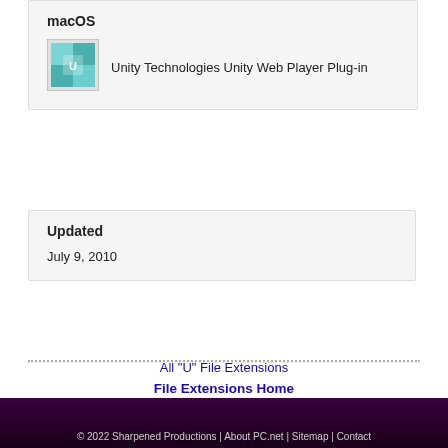macOS
Unity Technologies Unity Web Player Plug-in
Updated
July 9, 2010
All "U" File Extensions
File Extensions Home
Print
© 2022 Sharpened Productions | About PC.net | Sitemap | Contact